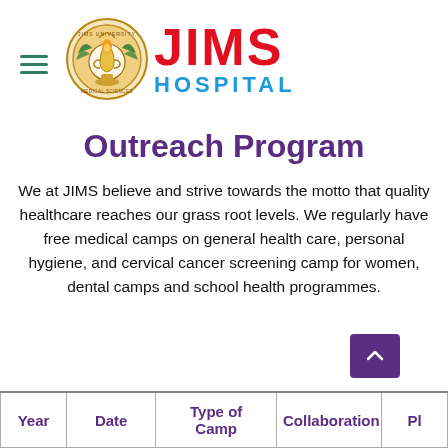[Figure (logo): JIMS Hospital logo — circular emblem with 'JIMS' in bold red and 'HOSPITAL' in blue, with a decorative institutional seal]
Outreach Program
We at JIMS believe and strive towards the motto that quality healthcare reaches our grass root levels. We regularly have free medical camps on general health care, personal hygiene, and cervical cancer screening camp for women, dental camps and school health programmes.
| Year | Date | Type of Camp | Collaboration | Pl... |
| --- | --- | --- | --- | --- |